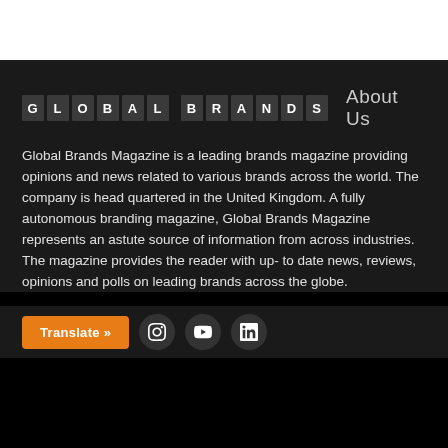GLOBAL BRANDS About Us
Global Brands Magazine is a leading brands magazine providing opinions and news related to various brands across the world. The company is head quartered in the United Kingdom. A fully autonomous branding magazine, Global Brands Magazine represents an astute source of information from across industries. The magazine provides the reader with up- to date news, reviews, opinions and polls on leading brands across the globe.
Translate »  [Instagram] [YouTube] [LinkedIn]